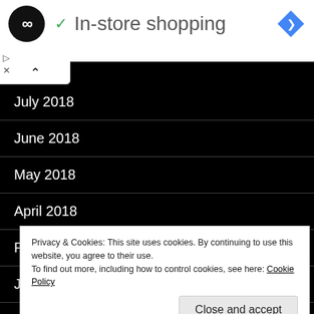[Figure (logo): Black circular logo with infinity symbol in white, with green checkmark and 'In-store shopping' title, and blue navigation diamond icon on right]
July 2018
June 2018
May 2018
April 2018
February 2018
January 2018
Privacy & Cookies: This site uses cookies. By continuing to use this website, you agree to their use.
To find out more, including how to control cookies, see here: Cookie Policy
Close and accept